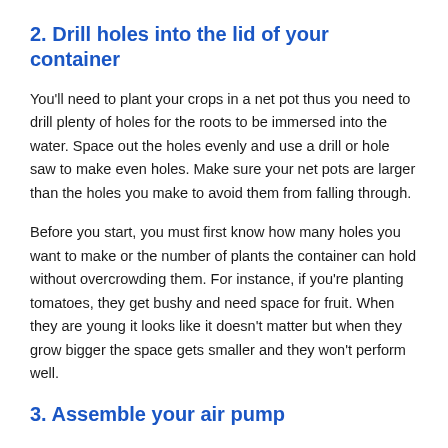2. Drill holes into the lid of your container
You'll need to plant your crops in a net pot thus you need to drill plenty of holes for the roots to be immersed into the water. Space out the holes evenly and use a drill or hole saw to make even holes. Make sure your net pots are larger than the holes you make to avoid them from falling through.
Before you start, you must first know how many holes you want to make or the number of plants the container can hold without overcrowding them. For instance, if you're planting tomatoes, they get bushy and need space for fruit. When they are young it looks like it doesn't matter but when they grow bigger the space gets smaller and they won't perform well.
3. Assemble your air pump